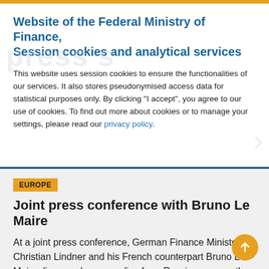Website of the Federal Ministry of Finance, Session cookies and analytical services
This website uses session cookies to ensure the functionalities of our services. It also stores pseudonymised access data for statistical purposes only. By clicking “I accept”, you agree to our use of cookies. To find out more about cookies or to manage your settings, please read our privacy policy.
EUROPE
Joint press conference with Bruno Le Maire
At a joint press conference, German Finance Minister Christian Lindner and his French counterpart Bruno Le Maire discussed gas supplies from Russia, among other topics. Both